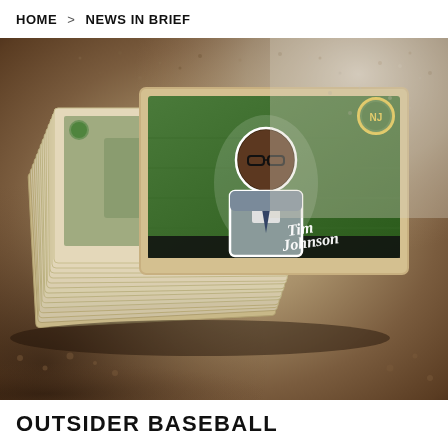HOME > NEWS IN BRIEF
[Figure (photo): A stack of baseball-style trading cards on a sandy/gravel surface. The top card shows a man (Tim Johnson) with glasses against a green background, with a circular logo and cursive signature reading 'Tim Johnson'.]
OUTSIDER BASEBALL